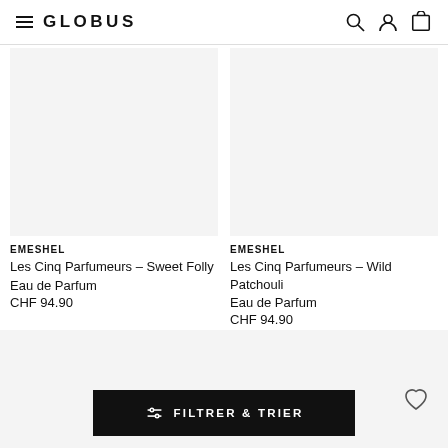GLOBUS
[Figure (photo): Product image placeholder for EMESHEL Les Cinq Parfumeurs Sweet Folly - light grey background]
EMESHEL
Les Cinq Parfumeurs - Sweet Folly
Eau de Parfum
CHF 94.90
[Figure (photo): Product image placeholder for EMESHEL Les Cinq Parfumeurs Wild Patchouli - light grey background]
EMESHEL
Les Cinq Parfumeurs - Wild Patchouli
Eau de Parfum
CHF 94.90
[Figure (screenshot): FILTRER & TRIER button and wishlist heart icon at the bottom of the page]